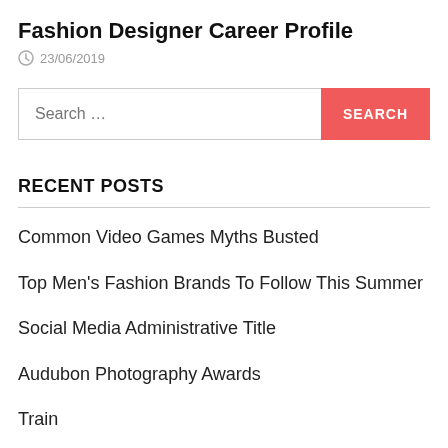Fashion Designer Career Profile
23/06/2019
Search …
RECENT POSTS
Common Video Games Myths Busted
Top Men's Fashion Brands To Follow This Summer
Social Media Administrative Title
Audubon Photography Awards
Train